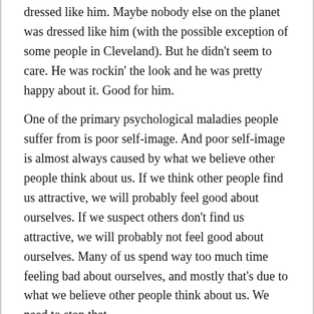dressed like him. Maybe nobody else on the planet was dressed like him (with the possible exception of some people in Cleveland). But he didn't seem to care. He was rockin' the look and he was pretty happy about it. Good for him.
One of the primary psychological maladies people suffer from is poor self-image. And poor self-image is almost always caused by what we believe other people think about us. If we think other people find us attractive, we will probably feel good about ourselves. If we suspect others don't find us attractive, we will probably not feel good about ourselves. Many of us spend way too much time feeling bad about ourselves, and mostly that's due to what we believe other people think about us. We need to stop that.
All this month we're going to explore "The Gift of